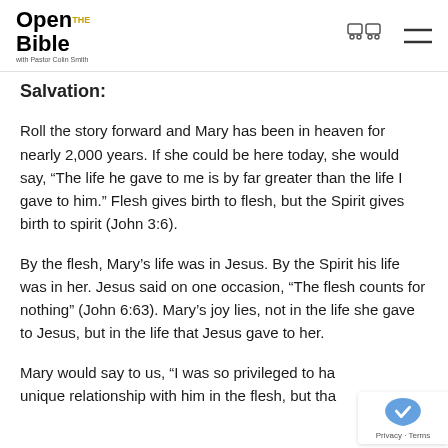Open the Bible with Pastor Colin Smith
Salvation:
Roll the story forward and Mary has been in heaven for nearly 2,000 years. If she could be here today, she would say, “The life he gave to me is by far greater than the life I gave to him.” Flesh gives birth to flesh, but the Spirit gives birth to spirit (John 3:6).
By the flesh, Mary’s life was in Jesus. By the Spirit his life was in her. Jesus said on one occasion, “The flesh counts for nothing” (John 6:63). Mary’s joy lies, not in the life she gave to Jesus, but in the life that Jesus gave to her.
Mary would say to us, “I was so privileged to have a unique relationship with him in the flesh, but that…